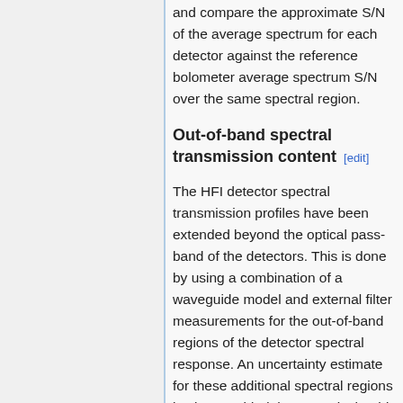and compare the approximate S/N of the average spectrum for each detector against the reference bolometer average spectrum S/N over the same spectral region.
Out-of-band spectral transmission content [edit]
The HFI detector spectral transmission profiles have been extended beyond the optical pass-band of the detectors. This is done by using a combination of a waveguide model and external filter measurements for the out-of-band regions of the detector spectral response. An uncertainty estimate for these additional spectral regions is also provided, however, it should be noted that the spectral uncertainty for the waveguide and filter spectra are